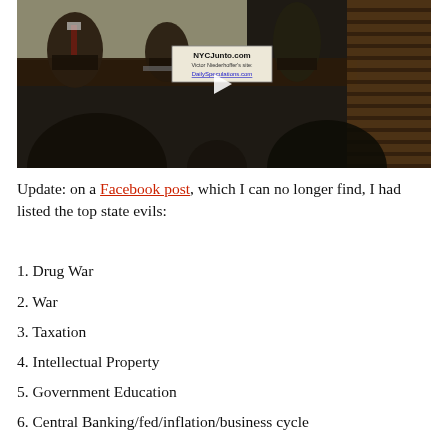[Figure (photo): Video thumbnail showing a panel discussion. Several people are seated at a table. A sign reads 'NYCJunto.com / Victor Niederhoffer's site: DailySpeculations.com'. A play button is visible in the center. Bookshelves visible in background. Audience members visible in foreground as silhouettes.]
Update: on a Facebook post, which I can no longer find, I had listed the top state evils:
1. Drug War
2. War
3. Taxation
4. Intellectual Property
5. Government Education
6. Central Banking/fed/inflation/business cycle